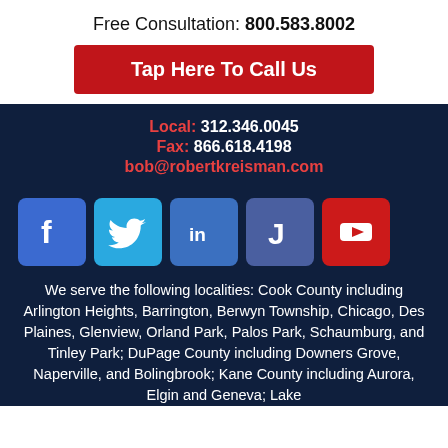Free Consultation: 800.583.8002
Tap Here To Call Us
Local: 312.346.0045
Fax: 866.618.4198
bob@robertkreisman.com
[Figure (logo): Social media icons row: Facebook, Twitter, LinkedIn, JD, YouTube]
We serve the following localities: Cook County including Arlington Heights, Barrington, Berwyn Township, Chicago, Des Plaines, Glenview, Orland Park, Palos Park, Schaumburg, and Tinley Park; DuPage County including Downers Grove, Naperville, and Bolingbrook; Kane County including Aurora, Elgin and Geneva; Lake